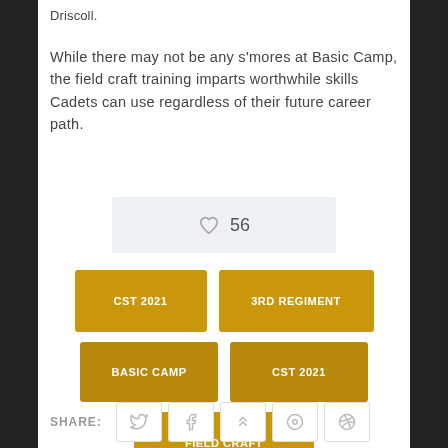Driscoll.
While there may not be any s'mores at Basic Camp, the field craft training imparts worthwhile skills Cadets can use regardless of their future career path.
[Figure (infographic): Like/heart button with count of 56]
CST 2021
3RD REGIMENT
BASIC CAMP
CST 2021
FIELD CRAFT
SHARE: